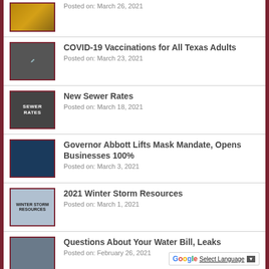Posted on: March 26, 2021
COVID-19 Vaccinations for All Texas Adults
Posted on: March 23, 2021
New Sewer Rates
Posted on: March 18, 2021
Governor Abbott Lifts Mask Mandate, Opens Businesses 100%
Posted on: March 3, 2021
2021 Winter Storm Resources
Posted on: March 1, 2021
Questions About Your Water Bill, Leaks
Posted on: February 26, 2021